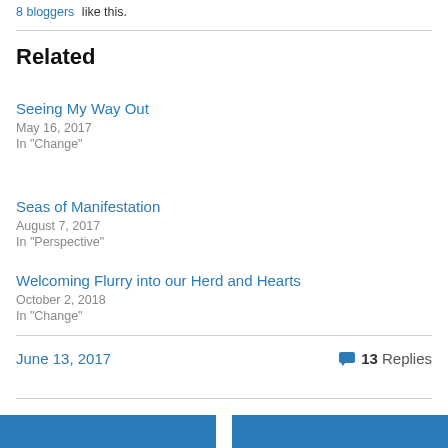8 bloggers like this.
Related
Seeing My Way Out
May 16, 2017
In "Change"
Seas of Manifestation
August 7, 2017
In "Perspective"
Welcoming Flurry into our Herd and Hearts
October 2, 2018
In "Change"
June 13, 2017
13 Replies